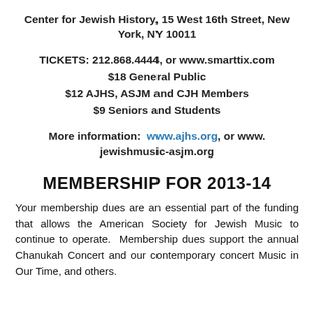Center for Jewish History, 15 West 16th Street, New York, NY 10011
TICKETS: 212.868.4444, or www.smarttix.com
$18 General Public
$12 AJHS, ASJM and CJH Members
$9 Seniors and Students
More information: www.ajhs.org, or www.jewishmusic-asjm.org
MEMBERSHIP FOR 2013-14
Your membership dues are an essential part of the funding that allows the American Society for Jewish Music to continue to operate. Membership dues support the annual Chanukah Concert and our contemporary concert Music in Our Time, and others.